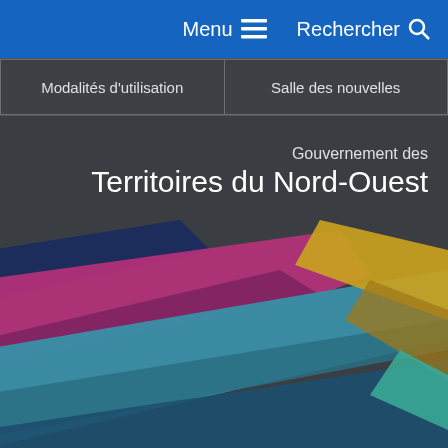Menu  Rechercher
Modalités d'utilisation
Salle des nouvelles
Gouvernement des Territoires du Nord-Ouest
[Figure (illustration): Abstract colorful ribbon shapes in magenta/purple, teal/blue, and gold/yellow colors flowing diagonally across a dark grey background, representing the Government of Northwest Territories visual identity.]